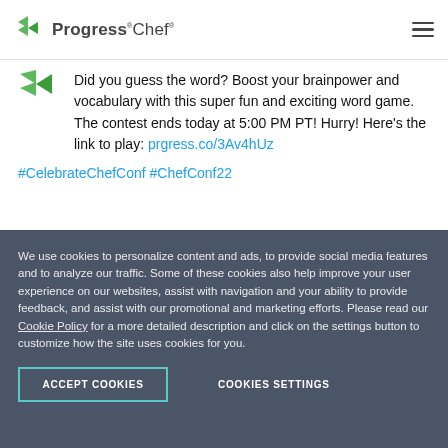Progress Chef
Did you guess the word? Boost your brainpower and vocabulary with this super fun and exciting word game. The contest ends today at 5:00 PM PT! Hurry! Here's the link to play: prgress.co/3Av4hUz
#CelebrateChefConf #ChefConf22
[Figure (screenshot): Partial view of a colorful game card with blue and orange sections showing the text (outcef)]
We use cookies to personalize content and ads, to provide social media features and to analyze our traffic. Some of these cookies also help improve your user experience on our websites, assist with navigation and your ability to provide feedback, and assist with our promotional and marketing efforts. Please read our Cookie Policy for a more detailed description and click on the settings button to customize how the site uses cookies for you.
ACCEPT COOKIES
COOKIES SETTINGS